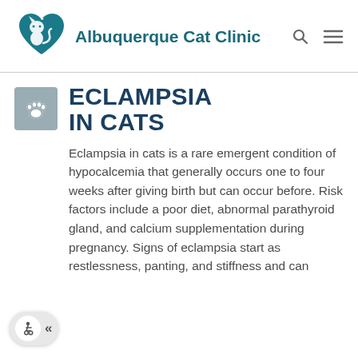[Figure (logo): Albuquerque Cat Clinic logo with heart and cat silhouette in teal]
ECLAMPSIA IN CATS
Eclampsia in cats is a rare emergent condition of hypocalcemia that generally occurs one to four weeks after giving birth but can occur before. Risk factors include a poor diet, abnormal parathyroid gland, and calcium supplementation during pregnancy. Signs of eclampsia start as restlessness, panting, and stiffness and can
[Figure (illustration): Accessibility widget with wheelchair icon and chevron arrows, bottom left corner]